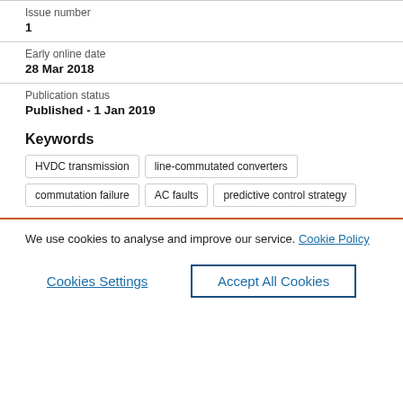Issue number
1
Early online date
28 Mar 2018
Publication status
Published - 1 Jan 2019
Keywords
HVDC transmission
line-commutated converters
commutation failure
AC faults
predictive control strategy
We use cookies to analyse and improve our service. Cookie Policy
Cookies Settings
Accept All Cookies